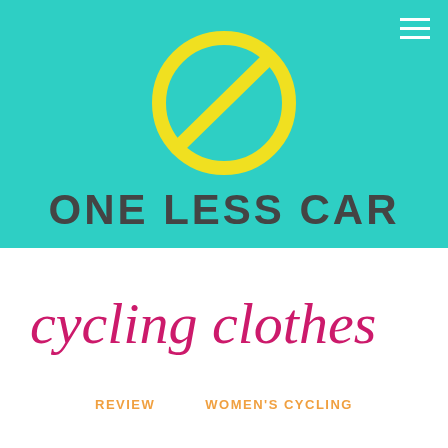[Figure (logo): One Less Car logo: yellow circle with a diagonal line through it (no-car symbol) on teal/turquoise background, with hamburger menu icon in top right corner]
ONE LESS CAR
cycling clothes
REVIEW   WOMEN'S CYCLING